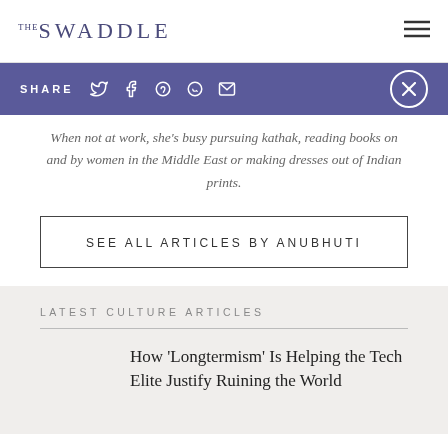THE SWADDLE
SHARE
When not at work, she's busy pursuing kathak, reading books on and by women in the Middle East or making dresses out of Indian prints.
SEE ALL ARTICLES BY ANUBHUTI
LATEST CULTURE ARTICLES
How 'Longtermism' Is Helping the Tech Elite Justify Ruining the World